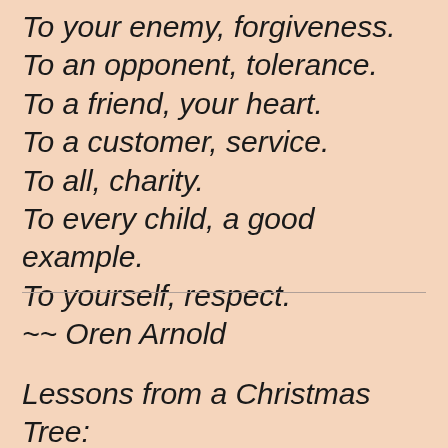To your enemy, forgiveness.
To an opponent, tolerance.
To a friend, your heart.
To a customer, service.
To all, charity.
To every child, a good example.
To yourself, respect.
~~ Oren Arnold
Lessons from a Christmas Tree: